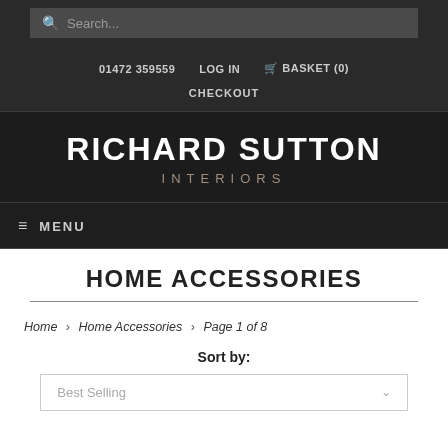Search...
01472 359559  LOG IN  🛒 BASKET (0)  CHECKOUT
RICHARD SUTTON INTERIORS
≡ MENU
HOME ACCESSORIES
Home › Home Accessories › Page 1 of 8
Sort by:
Best Selling